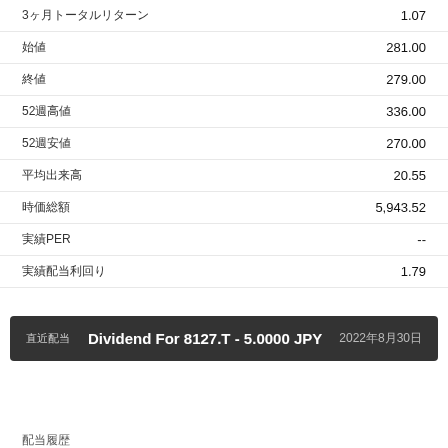| Label | Value |
| --- | --- |
| 3ヶ月トータルリターン | 1.07 |
| 始値 | 281.00 |
| 終値 | 279.00 |
| 52週高値 | 336.00 |
| 52週安値 | 270.00 |
| 平均出来高 | 20.55 |
| 時価総額 | 5,943.52 |
| 実績PER | -- |
| 実績配当利回り | 1.79 |
直近配当　Dividend For 8127.T - 5.0000 JPY　2022年8月30日
配当履歴